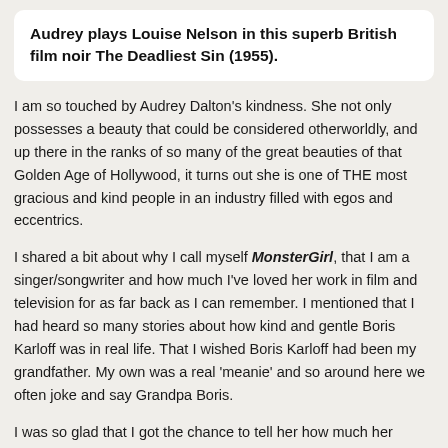Audrey plays Louise Nelson in this superb British film noir The Deadliest Sin (1955).
I am so touched by Audrey Dalton's kindness. She not only possesses a beauty that could be considered otherworldly, and up there in the ranks of so many of the great beauties of that Golden Age of Hollywood, it turns out she is one of THE most gracious and kind people in an industry filled with egos and eccentrics.
I shared a bit about why I call myself MonsterGirl, that I am a singer/songwriter and how much I've loved her work in film and television for as far back as I can remember. I mentioned that I had heard so many stories about how kind and gentle Boris Karloff was in real life. That I wished Boris Karloff had been my grandfather. My own was a real 'meanie' and so around here we often joke and say Grandpa Boris.
I was so glad that I got the chance to tell her how much her contribution to THRILLER elevated the episodes to a whole new level, including Boris himself who brought to life a confluence of genius, the immense collaborative efforts of some of the most talented artists and people in the industry. Audrey Dalton worked with directors– Herschel Daugherty on Hay-Fork and Bill-Hook, with John Brahm on The Prediction starring along side Boris Karloff and director William F. Claxton and co-starring with another great actor Warren Oates in The Hollow Watcher